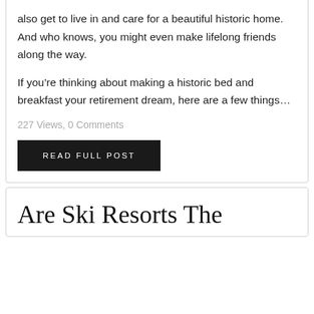also get to live in and care for a beautiful historic home. And who knows, you might even make lifelong friends along the way.
If you're thinking about making a historic bed and breakfast your retirement dream, here are a few things...
227 Views, 0 Comments
READ FULL POST
Are Ski Resorts The